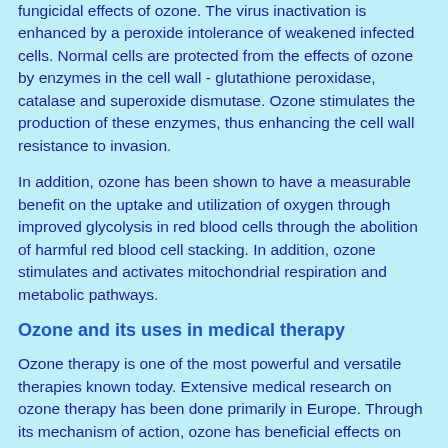fungicidal effects of ozone. The virus inactivation is enhanced by a peroxide intolerance of weakened infected cells. Normal cells are protected from the effects of ozone by enzymes in the cell wall - glutathione peroxidase, catalase and superoxide dismutase. Ozone stimulates the production of these enzymes, thus enhancing the cell wall resistance to invasion.
In addition, ozone has been shown to have a measurable benefit on the uptake and utilization of oxygen through improved glycolysis in red blood cells through the abolition of harmful red blood cell stacking. In addition, ozone stimulates and activates mitochondrial respiration and metabolic pathways.
Ozone and its uses in medical therapy
Ozone therapy is one of the most powerful and versatile therapies known today. Extensive medical research on ozone therapy has been done primarily in Europe. Through its mechanism of action, ozone has beneficial effects on every part of the body. The effects include: